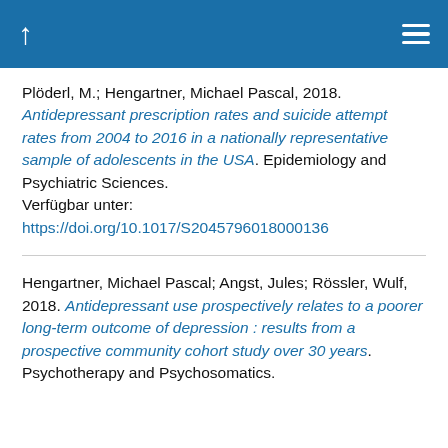↑ ≡
Plöderl, M.; Hengartner, Michael Pascal, 2018. Antidepressant prescription rates and suicide attempt rates from 2004 to 2016 in a nationally representative sample of adolescents in the USA. Epidemiology and Psychiatric Sciences. Verfügbar unter: https://doi.org/10.1017/S2045796018000136
Hengartner, Michael Pascal; Angst, Jules; Rössler, Wulf, 2018. Antidepressant use prospectively relates to a poorer long-term outcome of depression : results from a prospective community cohort study over 30 years. Psychotherapy and Psychosomatics.